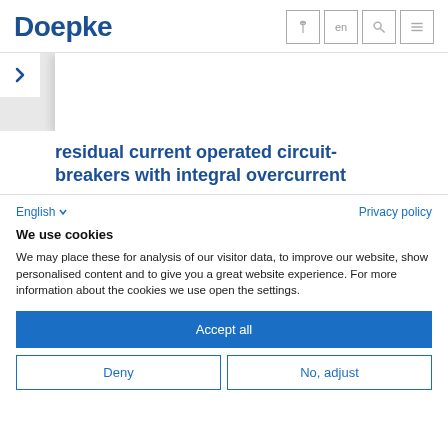Doepke
residual current operated circuit-breakers with integral overcurrent
English  Privacy policy
We use cookies
We may place these for analysis of our visitor data, to improve our website, show personalised content and to give you a great website experience. For more information about the cookies we use open the settings.
Accept all
Deny
No, adjust